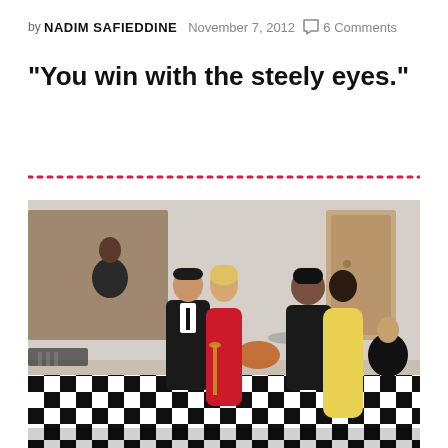by NADIM SAFIEDDINE   November 7, 2012   6 Comments
"You win with the steely eyes."
[Figure (photo): People dancing at a formal event. Couples in formal attire on a black and white checkered dance floor in a grand hall. A woman in a red dress dances with a man in a tuxedo, and in the background another couple dances with a woman in a yellow gown. A jazz band plays in the background.]